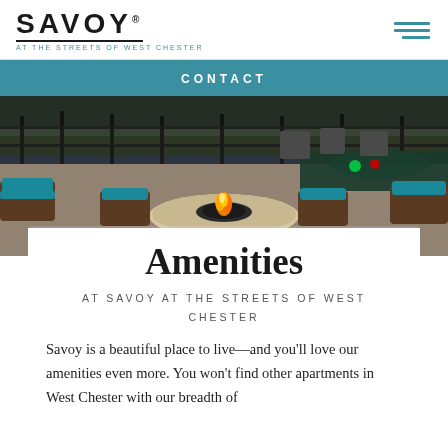SAVOY AT THE STREETS OF WEST CHESTER
CONTACT
[Figure (photo): Outdoor patio with fire pit table surrounded by wicker chairs with teal cushions, pool area visible in background]
Amenities
AT SAVOY AT THE STREETS OF WEST CHESTER
Savoy is a beautiful place to live—and you'll love our amenities even more. You won't find other apartments in West Chester with our breadth of